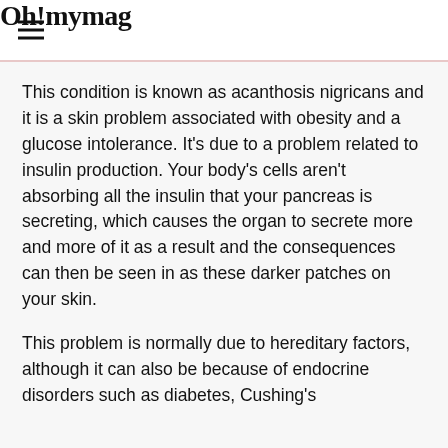Oh! mymag
This condition is known as acanthosis nigricans and it is a skin problem associated with obesity and a glucose intolerance. It's due to a problem related to insulin production. Your body's cells aren't absorbing all the insulin that your pancreas is secreting, which causes the organ to secrete more and more of it as a result and the consequences can then be seen in as these darker patches on your skin.
This problem is normally due to hereditary factors, although it can also be because of endocrine disorders such as diabetes, Cushing's